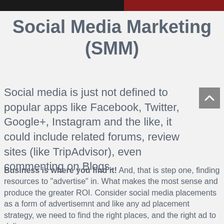Social Media Marketing (SMM)
Social media is just not defined to popular apps like Facebook, Twitter, Google+, Instagram and the like, it could include related forums, review sites (like TripAdvisor), even commenting on Blogs.
Business is where you find it! And, that is step one, finding resources to "advertise" in. What makes the most sense and produce the greater ROI. Consider social media placements as a form of advertisemnt and like any ad placement strategy, we need to find the right places, and the right ad to deliver.